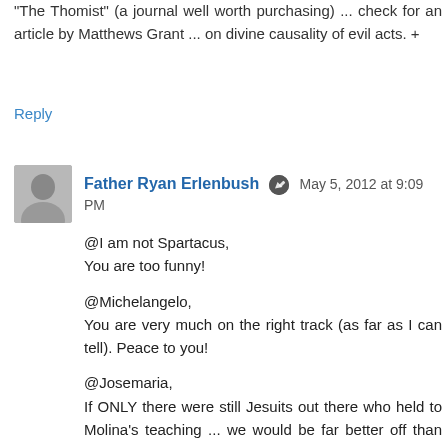"The Thomist" (a journal well worth purchasing) ... check for an article by Matthews Grant ... on divine causality of evil acts. +
Reply
Father Ryan Erlenbush  May 5, 2012 at 9:09 PM
@I am not Spartacus,
You are too funny!

@Michelangelo,
You are very much on the right track (as far as I can tell). Peace to you!

@Josemaria,
If ONLY there were still Jesuits out there who held to Molina's teaching ... we would be far better off than we are now!
(likewise, I WISH that I could meet some Franciscans who were true followers of Scotus ... but, alas, we are so lost in these sad days!)
Oremus pro invicem! +